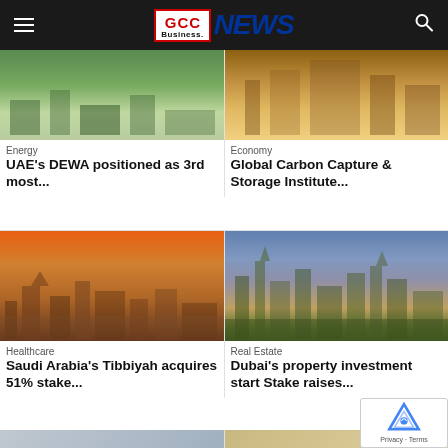GCC Business NEWS
[Figure (photo): Aerial view of DEWA energy facility with green surroundings]
Energy
UAE's DEWA positioned as 3rd most...
[Figure (photo): Interior of a building with warm golden lighting, carbon capture theme]
Economy
Global Carbon Capture & Storage Institute...
[Figure (photo): Riyadh skyline at sunset with orange and purple sky]
Healthcare
Saudi Arabia's Tibbiyah acquires 51% stake...
[Figure (photo): Dubai skyline with tall towers and blue cloudy sky]
Real Estate
Dubai's property investment start Stake raises...
[Figure (photo): Partial view of bottom-left article image]
[Figure (photo): Partial view of bottom-right article image]